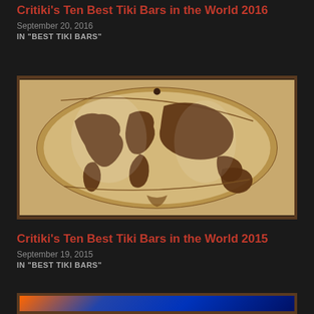Critiki's Ten Best Tiki Bars in the World 2016
September 20, 2016
IN "BEST TIKI BARS"
[Figure (photo): Wooden carved globe art piece in an elliptical frame on a warm beige background, depicting world continents in dark carved wood relief]
Critiki's Ten Best Tiki Bars in the World 2015
September 19, 2015
IN "BEST TIKI BARS"
[Figure (photo): Colorful tiki bar interior with bright orange and blue lighting, tropical decorations and plants]